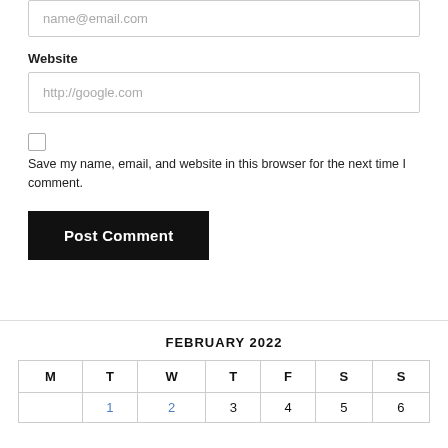name@email.com
Website
http://google.com
Save my name, email, and website in this browser for the next time I comment.
Post Comment
FEBRUARY 2022
| M | T | W | T | F | S | S |
| --- | --- | --- | --- | --- | --- | --- |
|  | 1 | 2 | 3 | 4 | 5 | 6 |